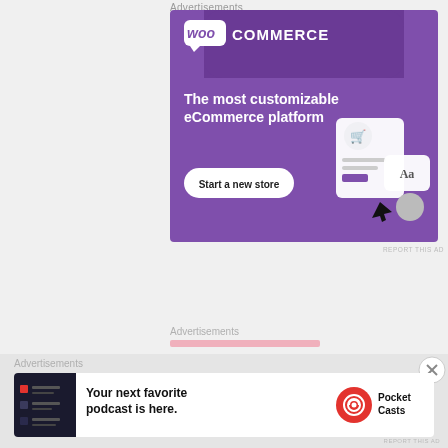Advertisements
[Figure (illustration): WooCommerce advertisement banner with purple background. Shows WooCommerce logo at top, tagline 'The most customizable eCommerce platform', a 'Start a new store' button, and UI mockup illustrations on the right side.]
REPORT THIS AD
Advertisements
Advertisements
[Figure (illustration): Pocket Casts advertisement banner. Shows a phone screenshot on the left, text 'Your next favorite podcast is here.' in the center, and the Pocket Casts logo with red circular icon on the right.]